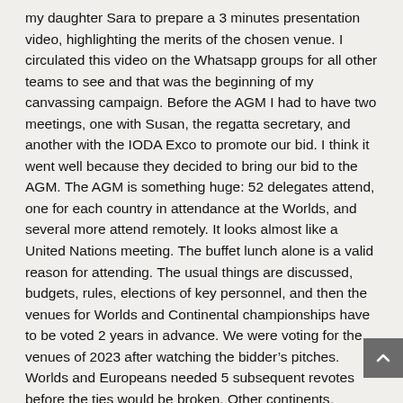my daughter Sara to prepare a 3 minutes presentation video, highlighting the merits of the chosen venue. I circulated this video on the Whatsapp groups for all other teams to see and that was the beginning of my canvassing campaign. Before the AGM I had to have two meetings, one with Susan, the regatta secretary, and another with the IODA Exco to promote our bid. I think it went well because they decided to bring our bid to the AGM. The AGM is something huge: 52 delegates attend, one for each country in attendance at the Worlds, and several more attend remotely. It looks almost like a United Nations meeting. The buffet lunch alone is a valid reason for attending. The usual things are discussed, budgets, rules, elections of key personnel, and then the venues for Worlds and Continental championships have to be voted 2 years in advance. We were voting for the venues of 2023 after watching the bidder's pitches. Worlds and Europeans needed 5 subsequent revotes before the ties would be broken. Other continents, including Africa, went a lot